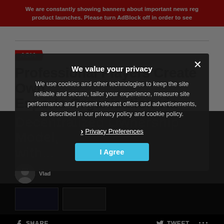We are constantly showing banners about important news reg product launches. Please turn AdBlock off in order to see
ASIA
Professional Players Create Own Esports Organisation via Decentralized Ownership Model, with...
We value your privacy
We use cookies and other technologies to keep the site reliable and secure, tailor your experience, measure site performance and present relevant offers and advertisements, as described in our privacy policy and cookie policy.
› Privacy Preferences
I Agree
Vlad
SHARE
TWEET